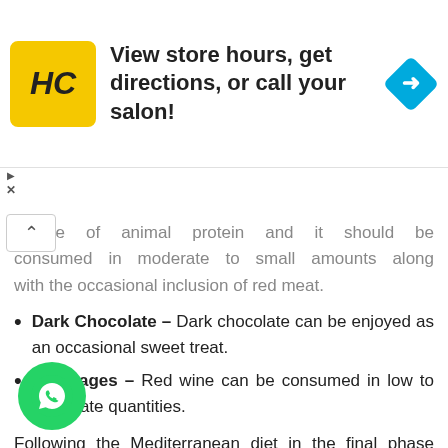[Figure (other): Advertisement banner for HC salon with logo, text 'View store hours, get directions, or call your salon!' and a blue navigation arrow icon]
source of animal protein and it should be consumed in moderate to small amounts along with the occasional inclusion of red meat.
Dark Chocolate – Dark chocolate can be enjoyed as an occasional sweet treat.
Beverages – Red wine can be consumed in low to moderate quantities.
Following the Mediterranean diet in the final phase of the gut balance revolution is one of the proven ways to lose weight and it is one of the best-suited sustainable diets for women and men alike. The Mediterranean way of eating helps to promote cardiovascular health, improve metabolic syndrome (central obesity,
[Figure (other): WhatsApp floating action button - green circle with white WhatsApp phone icon]